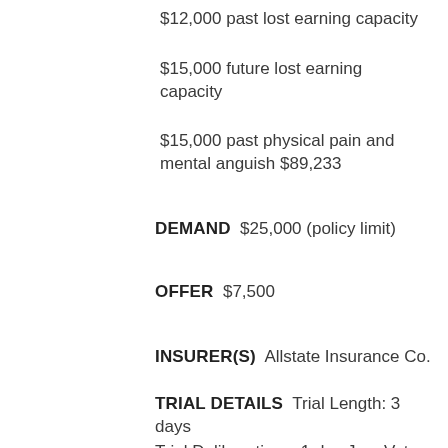$12,000 past lost earning capacity
$15,000 future lost earning capacity
$15,000 past physical pain and mental anguish $89,233
DEMAND  $25,000 (policy limit)
OFFER  $7,500
INSURER(S)  Allstate Insurance Co.
TRIAL DETAILS  Trial Length: 3 days Trial Deliberations: 1 day Jury Vote: 10-2 Jury Composition: 6 male, 6 female